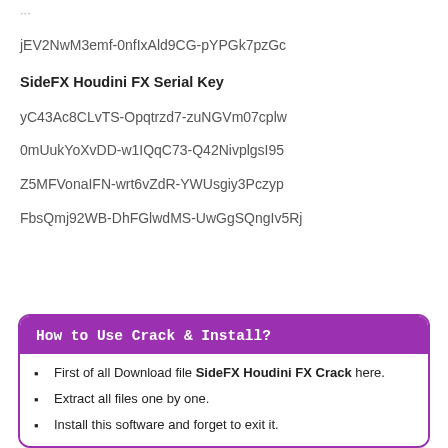jEV2NwM3emf-0nfIxAld9CG-pYPGk7pzGc
SideFX Houdini FX Serial Key
yC43Ac8CLvTS-Opqtrzd7-zuNGVm07cplw
0mUukYoXvDD-w1IQqC73-Q42NivplgsI95
Z5MFVonaIFN-wrt6vZdR-YWUsgiy3Pczyp
FbsQmj92WB-DhFGlwdMS-UwGgSQngIv5Rj
How to Use Crack & Install?
First of all Download file SideFX Houdini FX Crack here.
Extract all files one by one.
Install this software and forget to exit it.